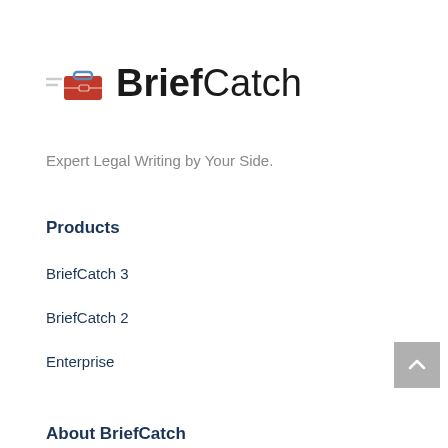[Figure (logo): BriefCatch logo with briefcase icon and speed lines, followed by bold 'Brief' and normal weight 'Catch' text]
Expert Legal Writing by Your Side.
Products
BriefCatch 3
BriefCatch 2
Enterprise
About BriefCatch